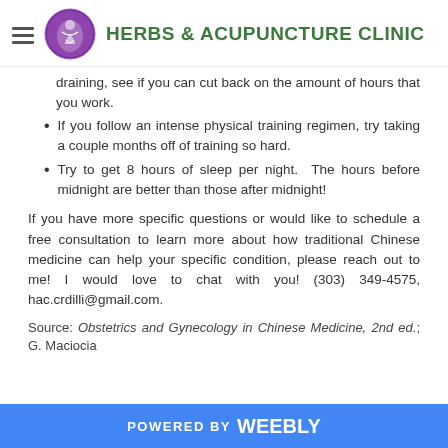Herbs & Acupuncture Clinic
draining, see if you can cut back on the amount of hours that you work.
If you follow an intense physical training regimen, try taking a couple months off of training so hard.
Try to get 8 hours of sleep per night.  The hours before midnight are better than those after midnight!
If you have more specific questions or would like to schedule a free consultation to learn more about how traditional Chinese medicine can help your specific condition, please reach out to me! I would love to chat with you! (303) 349-4575, hac.crdilli@gmail.com.
Source: Obstetrics and Gynecology in Chinese Medicine, 2nd ed.; G. Maciocia
POWERED BY weebly